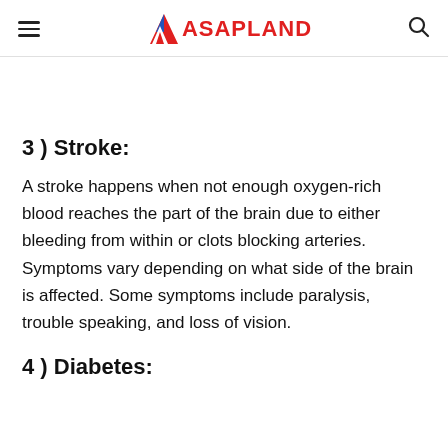ASAPLAND
3 ) Stroke:
A stroke happens when not enough oxygen-rich blood reaches the part of the brain due to either bleeding from within or clots blocking arteries. Symptoms vary depending on what side of the brain is affected. Some symptoms include paralysis, trouble speaking, and loss of vision.
4 ) Diabetes: